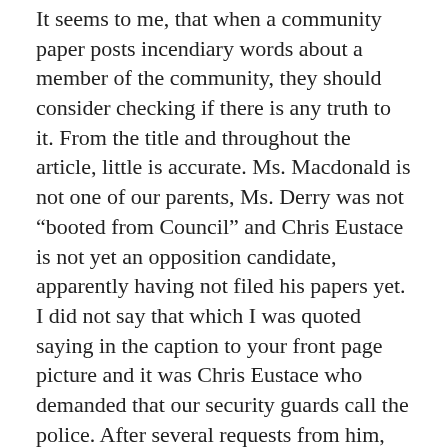It seems to me, that when a community paper posts incendiary words about a member of the community, they should consider checking if there is any truth to it. From the title and throughout the article, little is accurate. Ms. Macdonald is not one of our parents, Ms. Derry was not “booted from Council” and Chris Eustace is not yet an opposition candidate, apparently having not filed his papers yet. I did not say that which I was quoted saying in the caption to your front page picture and it was Chris Eustace who demanded that our security guards call the police. After several requests from him, they complied.
We all have our roles to play within the system and part of my role is to ensure and maintain order at the public meetings of the Council of Commissioners. We have always welcomed and encouraged discussion and participation from the public, however it must take place in a respectful manner: shouting out, disrupting,